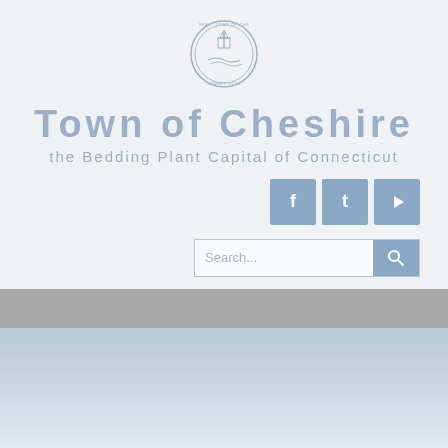[Figure (logo): Town of Cheshire official seal/logo, circular emblem with text 'TOWN OF CHESHIRE' and 'CONNECTICUT' around the border]
Town of Cheshire
the Bedding Plant Capital of Connecticut
[Figure (infographic): Social media icons: Facebook (f), Twitter (bird/t), YouTube (play button) - three blue square buttons]
[Figure (screenshot): Search bar with placeholder text 'Search...' and a blue search button with magnifying glass icon]
[Figure (infographic): Gray navigation bar]
[Figure (photo): Blue-gray gradient background section at the bottom of the page]